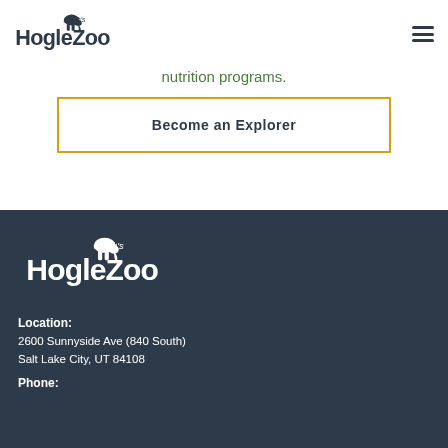[Figure (logo): Utah's Hogle Zoo logo — dark navy elephant silhouette above stylized HogleZoo wordmark]
nutrition programs.
Become an Explorer
[Figure (logo): Utah's Hogle Zoo logo in white on dark navy background]
Location:
2600 Sunnyside Ave (840 South)
Salt Lake City, UT 84108
Phone: